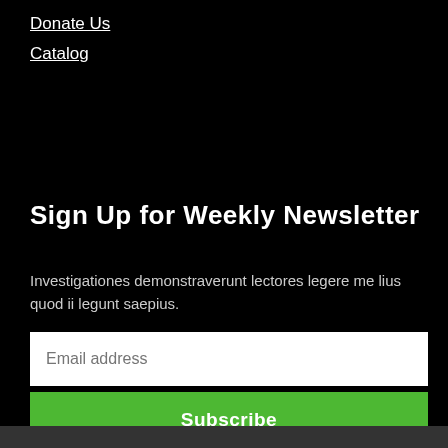Donate Us
Catalog
Sign Up for Weekly Newsletter
Investigationes demonstraverunt lectores legere me lius quod ii legunt saepius.
Email address
Subscribe